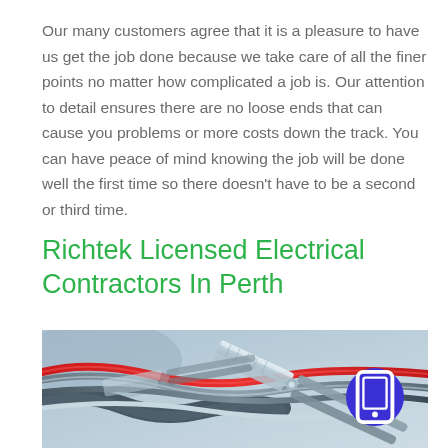Our many customers agree that it is a pleasure to have us get the job done because we take care of all the finer points no matter how complicated a job is. Our attention to detail ensures there are no loose ends that can cause you problems or more costs down the track. You can have peace of mind knowing the job will be done well the first time so there doesn't have to be a second or third time.
Richtek Licensed Electrical Contractors In Perth
[Figure (photo): Close-up photo of electrical wires and pliers/cutters, with a red wire prominent against blue-grey background. A blue circular phone/contact button overlay appears in the bottom-right.]